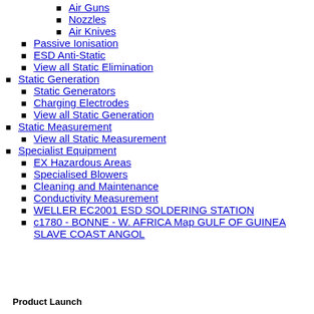Air Guns
Nozzles
Air Knives
Passive Ionisation
ESD Anti-Static
View all Static Elimination
Static Generation
Static Generators
Charging Electrodes
View all Static Generation
Static Measurement
View all Static Measurement
Specialist Equipment
EX Hazardous Areas
Specialised Blowers
Cleaning and Maintenance
Conductivity Measurement
WELLER EC2001 ESD SOLDERING STATION
c1780 - BONNE - W. AFRICA Map GULF OF GUINEA SLAVE COAST ANGOL
Product Launch